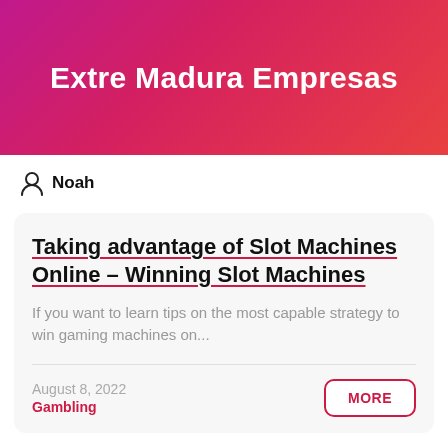Extre Madura Empresas
Noah
Taking advantage of Slot Machines Online – Winning Slot Machines
If you want to learn tips on the most capable strategy to win gaming machines on...
August 8, 2022
Gambling